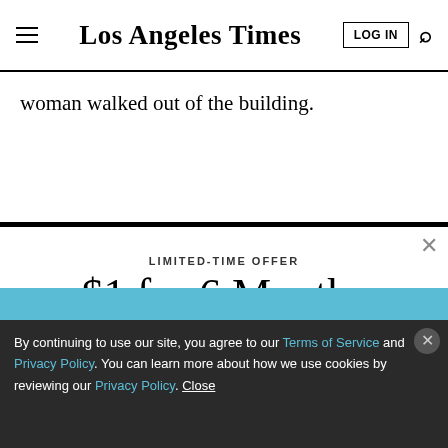Los Angeles Times
woman walked out of the building.
LIMITED-TIME OFFER
$1 for 6 Months
SUBSCRIBE NOW
By continuing to use our site, you agree to our Terms of Service and Privacy Policy. You can learn more about how we use cookies by reviewing our Privacy Policy. Close